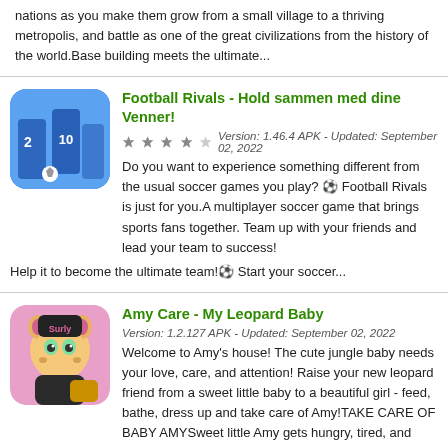nations as you make them grow from a small village to a thriving metropolis, and battle as one of the great civilizations from the history of the world.Base building meets the ultimate...
Football Rivals - Hold sammen med dine Venner!
Version: 1.46.4 APK - Updated: September 02, 2022
Do you want to experience something different from the usual soccer games you play? ⚽ Football Rivals is just for you.A multiplayer soccer game that brings sports fans together. Team up with your friends and lead your team to success! Help it to become the ultimate team!⚽ Start your soccer...
Amy Care - My Leopard Baby
Version: 1.2.127 APK - Updated: September 02, 2022
Welcome to Amy's house! The cute jungle baby needs your love, care, and attention! Raise your new leopard friend from a sweet little baby to a beautiful girl - feed, bathe, dress up and take care of Amy!TAKE CARE OF BABY AMYSweet little Amy gets hungry, tired, and bored - feed her delicious...